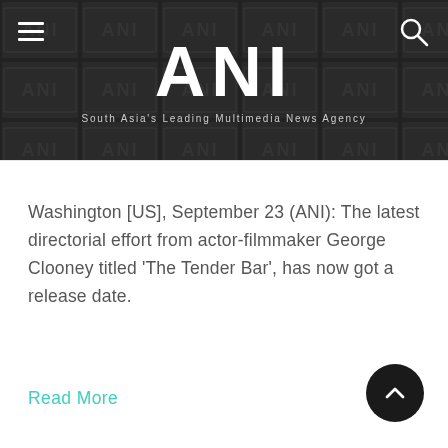ANI — South Asia's Leading Multimedia News Agency
Washington [US], September 23 (ANI): The latest directorial effort from actor-filmmaker George Clooney titled 'The Tender Bar', has now got a release date.
Read More